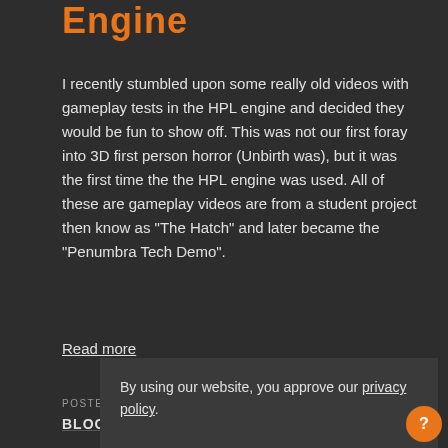Engine
I recently stumbled upon some really old videos with gameplay tests in the HPL engine and decided they would be fun to show off. This was not our first foray into 3D first person horror (Unbirth was), but it was the first time the the HPL engine was used. All of these are gameplay videos are from a student project then know as "The Hatch" and later became the "Penumbra Tech Demo".
Read more
POSTED ON 8TH OCTOBER 2012 BY THOMAS GRIP IN BLOG, ENGINE, HPL1, POST-MORTEM
By using our website, you approve our privacy policy.